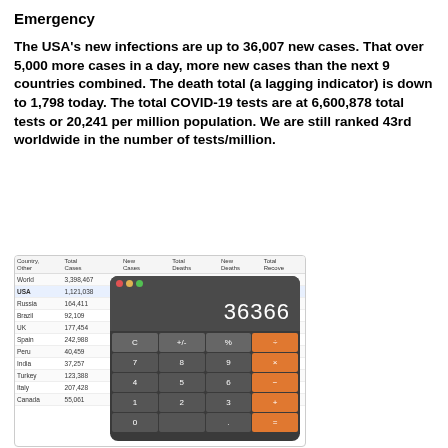Emergency
The USA's new infections are up to 36,007 new cases. That over 5,000 more cases in a day, more new cases than the next 9 countries combined. The death total (a lagging indicator) is down to 1,798 today. The total COVID-19 tests are at 6,600,878 total tests or 20,241 per million population. We are still ranked 43rd worldwide in the number of tests/million.
[Figure (table-as-image): COVID-19 country statistics table partially overlaid by a calculator app showing 36366, with data for World, USA, Russia, Brazil, UK, Spain, Peru, India, Turkey, Italy, Canada]